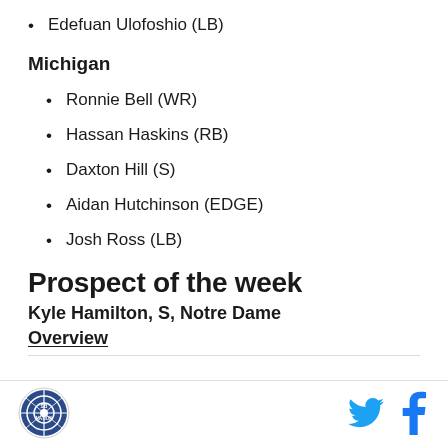Edefuan Ulofoshio (LB)
Michigan
Ronnie Bell (WR)
Hassan Haskins (RB)
Daxton Hill (S)
Aidan Hutchinson (EDGE)
Josh Ross (LB)
Prospect of the week
Kyle Hamilton, S, Notre Dame
Overview
[Figure (logo): SB Nation circular logo at bottom left]
[Figure (logo): Twitter bird icon in blue]
[Figure (logo): Facebook f icon in blue]